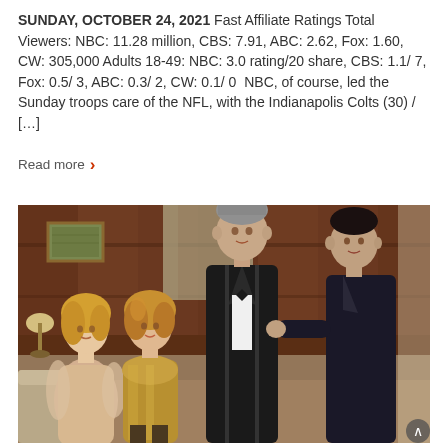SUNDAY, OCTOBER 24, 2021 Fast Affiliate Ratings Total Viewers: NBC: 11.28 million, CBS: 7.91, ABC: 2.62, Fox: 1.60, CW: 305,000 Adults 18-49: NBC: 3.0 rating/20 share, CBS: 1.1/ 7, Fox: 0.5/ 3, ABC: 0.3/ 2, CW: 0.1/ 0  NBC, of course, led the Sunday troops care of the NFL, with the Indianapolis Colts (30) / […]
Read more >
[Figure (photo): Four people posing in a wood-paneled room. From left: a blonde woman in a beige/nude dress, a young woman in a gold metallic outfit, a tall man in a black tuxedo with white shirt, and a man in a dark jacket on the far right.]